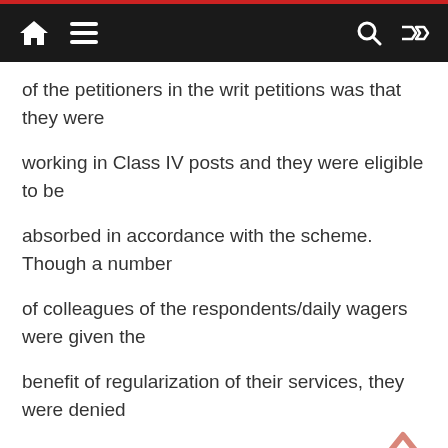Navigation bar with home, menu, search, and shuffle icons
of the petitioners in the writ petitions was that they were
working in Class IV posts and they were eligible to be
absorbed in accordance with the scheme. Though a number
of colleagues of the respondents/daily wagers were given the
benefit of regularization of their services, they were denied
the same.
9. Writ petitions filed by the daily wagers were